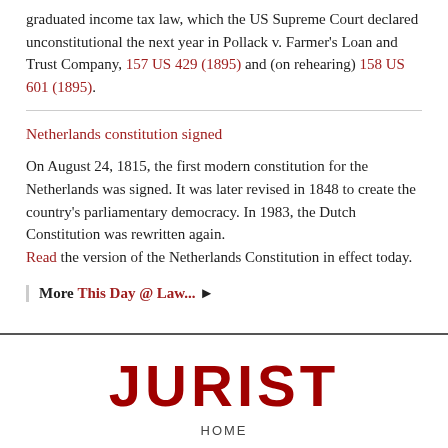graduated income tax law, which the US Supreme Court declared unconstitutional the next year in Pollack v. Farmer's Loan and Trust Company, 157 US 429 (1895) and (on rehearing) 158 US 601 (1895).
Netherlands constitution signed
On August 24, 1815, the first modern constitution for the Netherlands was signed. It was later revised in 1848 to create the country's parliamentary democracy. In 1983, the Dutch Constitution was rewritten again.
Read the version of the Netherlands Constitution in effect today.
More This Day @ Law... ▶
JURIST